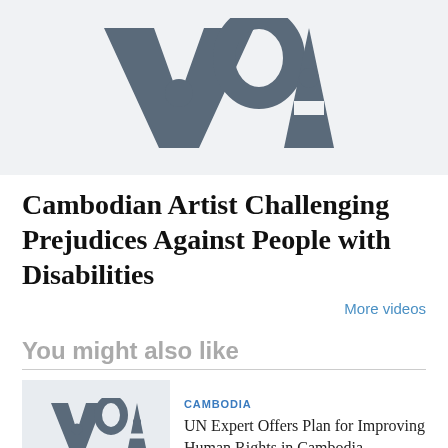[Figure (logo): VOA (Voice of America) logo in large gray letters on light gray background, cropped at top]
Cambodian Artist Challenging Prejudices Against People with Disabilities
More videos
You might also like
[Figure (logo): VOA logo thumbnail for related article]
CAMBODIA
UN Expert Offers Plan for Improving Human Rights in Cambodia
[Figure (logo): VOA logo thumbnail for second related article, partially cropped]
CAMBODIA